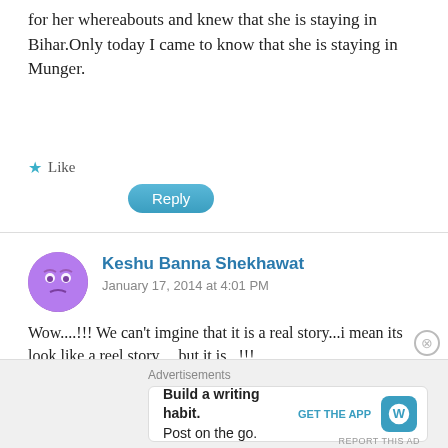for her whereabouts and knew that she is staying in Bihar.Only today I came to know that she is staying in Munger.
★ Like
Reply
Keshu Banna Shekhawat
January 17, 2014 at 4:01 PM
Wow....!!! We can't imgine that it is a real story...i mean its look like a reel story.....but it is...!!!
Now i want to say all of u that Annu is a Real SuperStar....n i like her SOooooooo Muchhh....
★ Like
Reply
Advertisements
Build a writing habit. Post on the go.
GET THE APP